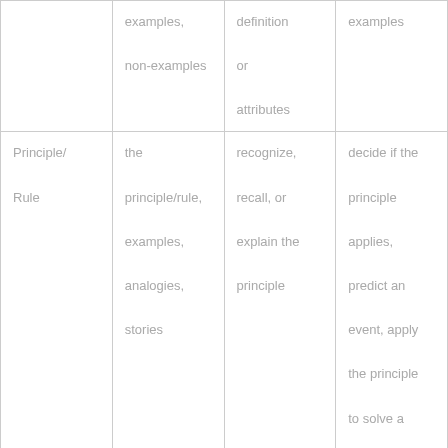|  | examples,
non-examples | definition
or
attributes | examples |
| Principle/
Rule | the
principle/rule,
examples,
analogies,
stories | recognize,
recall, or
explain the
principle | decide if the
principle
applies,
predict an
event, apply
the principle
to solve a
problem |
| Procedure | list of steps,
demonstration | recognize,
recall, or
reorder the | perform the
steps |